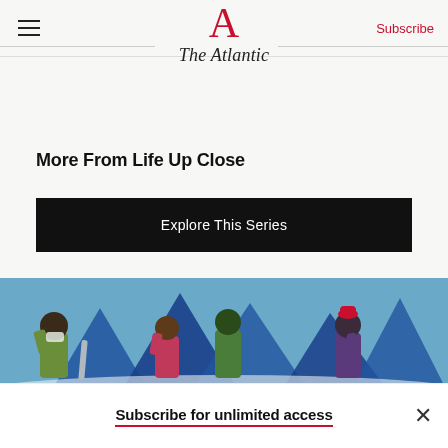The Atlantic
More From Life Up Close
Explore This Series
[Figure (illustration): Illustrated scene showing multiple figures in green and purple tones against a blue painted backdrop with mountain-like shapes]
Subscribe for unlimited access